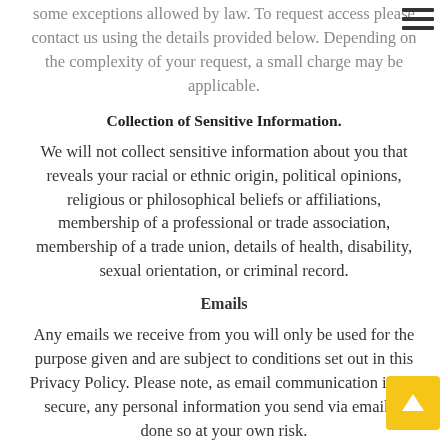some exceptions allowed by law. To request access please contact us using the details provided below. Depending on the complexity of your request, a small charge may be applicable.
Collection of Sensitive Information.
We will not collect sensitive information about you that reveals your racial or ethnic origin, political opinions, religious or philosophical beliefs or affiliations, membership of a professional or trade association, membership of a trade union, details of health, disability, sexual orientation, or criminal record.
Emails
Any emails we receive from you will only be used for the purpose given and are subject to conditions set out in this Privacy Policy. Please note, as email communication is not secure, any personal information you send via email is done so at your own risk.